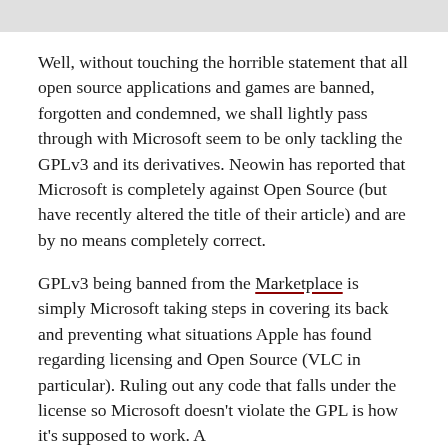[Figure (other): Gray horizontal bar at the top of the page, partial image element]
Well, without touching the horrible statement that all open source applications and games are banned, forgotten and condemned, we shall lightly pass through with Microsoft seem to be only tackling the GPLv3 and its derivatives. Neowin has reported that Microsoft is completely against Open Source (but have recently altered the title of their article) and are by no means completely correct.
GPLv3 being banned from the Marketplace is simply Microsoft taking steps in covering its back and preventing what situations Apple has found regarding licensing and Open Source (VLC in particular). Ruling out any code that falls under the license so Microsoft doesn't violate the GPL is how it's supposed to work. A [cut off]